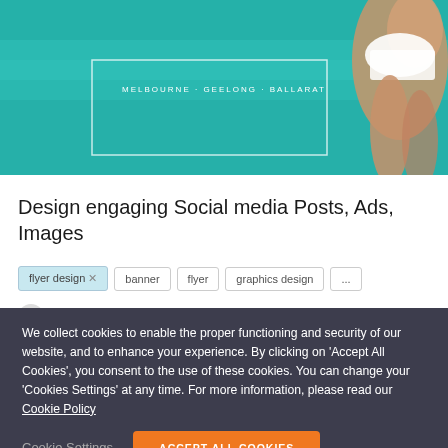[Figure (screenshot): Beach/ocean background banner with teal water and woman in white swimsuit on the right. White rectangular border overlay in the center area. Text reads MELBOURNE · GEELONG · BALLARAT]
Design engaging Social media Posts, Ads, Images
flyer design ×   banner   flyer   graphics design   ...
We collect cookies to enable the proper functioning and security of our website, and to enhance your experience. By clicking on 'Accept All Cookies', you consent to the use of these cookies. You can change your 'Cookies Settings' at any time. For more information, please read our Cookie Policy
Cookie Settings   ACCEPT ALL COOKIES